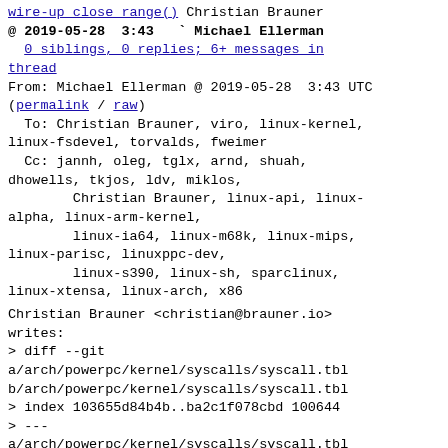wire-up close range() Christian Brauner @ 2019-05-28 3:43 ` Michael Ellerman 0 siblings, 0 replies; 6+ messages in thread
From: Michael Ellerman @ 2019-05-28  3:43 UTC
(permalink / raw)
  To: Christian Brauner, viro, linux-kernel,
linux-fsdevel, torvalds, fweimer
  Cc: jannh, oleg, tglx, arnd, shuah,
dhowells, tkjos, ldv, miklos,
        Christian Brauner, linux-api, linux-alpha, linux-arm-kernel,
        linux-ia64, linux-m68k, linux-mips,
linux-parisc, linuxppc-dev,
        linux-s390, linux-sh, sparclinux,
linux-xtensa, linux-arch, x86
Christian Brauner <christian@brauner.io>
writes:
> diff --git
a/arch/powerpc/kernel/syscalls/syscall.tbl
b/arch/powerpc/kernel/syscalls/syscall.tbl
> index 103655d84b4b..ba2c1f078cbd 100644
> ---
a/arch/powerpc/kernel/syscalls/syscall.tbl
> +++
b/arch/powerpc/kernel/syscalls/syscall.tbl
> @@ -515,3 +515,4 @@
>  431  common  fsconfig
sys fsconfig